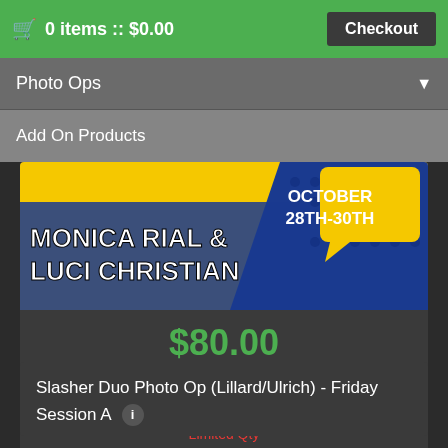🛒 0 items :: $0.00  Checkout
Photo Ops
Add On Products
[Figure (illustration): Convention banner for Monica Rial & Luci Christian, October 28th-30th, comic-style yellow and blue design]
$80.00
0
Limited Qty
Slasher Duo Photo Op (Lillard/Ulrich) - Friday Session A